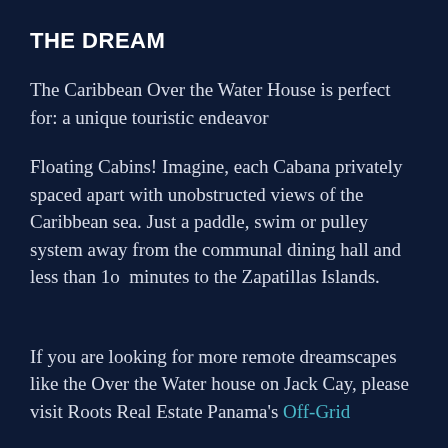THE DREAM
The Caribbean Over the Water House is perfect for: a unique touristic endeavor
Floating Cabins! Imagine, each Cabana privately spaced apart with unobstructed views of the Caribbean sea. Just a paddle, swim or pulley system away from the communal dining hall and less than 1o  minutes to the Zapatillas Islands.
If you are looking for more remote dreamscapes like the Over the Water house on Jack Cay, please visit Roots Real Estate Panama's Off-Grid